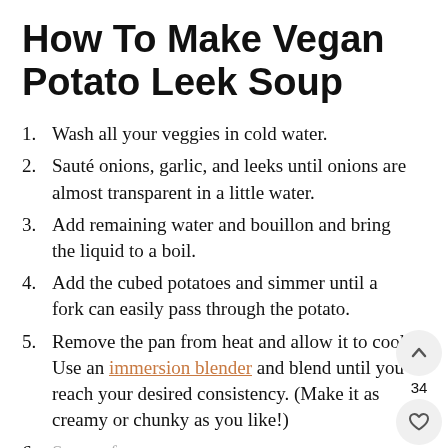How To Make Vegan Potato Leek Soup
Wash all your veggies in cold water.
Sauté onions, garlic, and leeks until onions are almost transparent in a little water.
Add remaining water and bouillon and bring the liquid to a boil.
Add the cubed potatoes and simmer until a fork can easily pass through the potato.
Remove the pan from heat and allow it to cool. Use an immersion blender and blend until you reach your desired consistency. (Make it as creamy or chunky as you like!)
Season for...